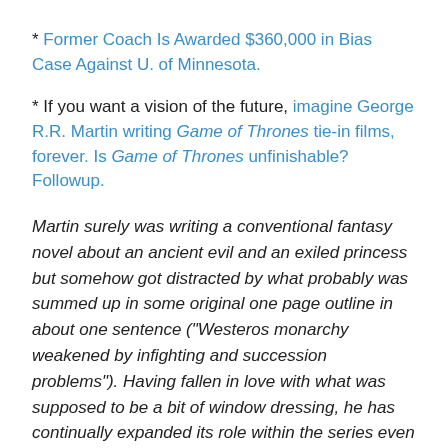* Former Coach Is Awarded $360,000 in Bias Case Against U. of Minnesota.
* If you want a vision of the future, imagine George R.R. Martin writing Game of Thrones tie-in films, forever. Is Game of Thrones unfinishable? Followup.
Martin surely was writing a conventional fantasy novel about an ancient evil and an exiled princess but somehow got distracted by what probably was summed up in some original one page outline in about one sentence ("Westeros monarchy weakened by infighting and succession problems"). Having fallen in love with what was supposed to be a bit of window dressing, he has continually expanded its role within the series even though it threatens to completely drown out what the series was supposed to be about in the first place. Is it any wonder